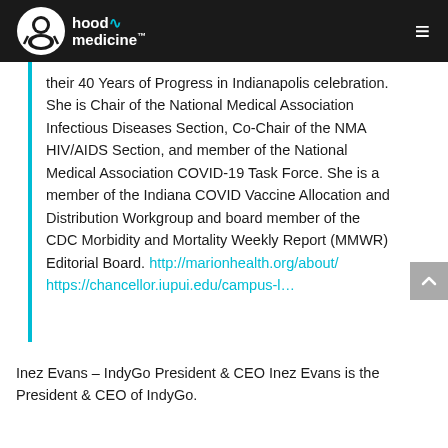hood medicine
their 40 Years of Progress in Indianapolis celebration. She is Chair of the National Medical Association Infectious Diseases Section, Co-Chair of the NMA HIV/AIDS Section, and member of the National Medical Association COVID-19 Task Force. She is a member of the Indiana COVID Vaccine Allocation and Distribution Workgroup and board member of the CDC Morbidity and Mortality Weekly Report (MMWR) Editorial Board. http://marionhealth.org/about/ https://chancellor.iupui.edu/campus-l...
Inez Evans – IndyGo President & CEO Inez Evans is the President & CEO of IndyGo.